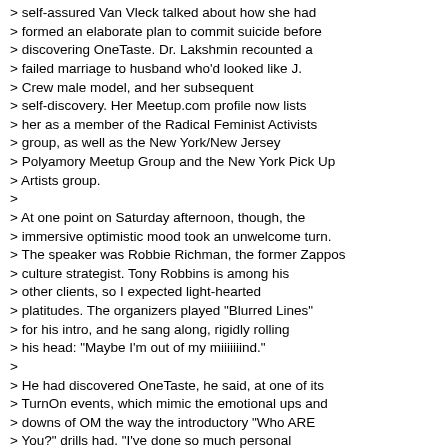> self-assured Van Vleck talked about how she had
> formed an elaborate plan to commit suicide before
> discovering OneTaste. Dr. Lakshmin recounted a
> failed marriage to husband who'd looked like J.
> Crew male model, and her subsequent
> self-discovery. Her Meetup.com profile now lists
> her as a member of the Radical Feminist Activists
> group, as well as the New York/New Jersey
> Polyamory Meetup Group and the New York Pick Up
> Artists group.
>
> At one point on Saturday afternoon, though, the
> immersive optimistic mood took an unwelcome turn.
> The speaker was Robbie Richman, the former Zappos
> culture strategist. Tony Robbins is among his
> other clients, so I expected light-hearted
> platitudes. The organizers played "Blurred Lines"
> for his intro, and he sang along, rigidly rolling
> his head: "Maybe I'm out of my miiiiiiind."
>
> He had discovered OneTaste, he said, at one of its
> TurnOn events, which mimic the emotional ups and
> downs of OM the way the introductory "Who ARE
> You?" drills had. "I've done so much personal
> development work," Richman said, "and rarely have
> I had that feeling of shaking and fear."
>
>
> He followed up by phoning one of the OneTaste
> coaches. "She came up with this one line that just
> zapped me," he said. "She said, 'I think you're a
> predator masking around as a New Age nice guy.'"
> The next line on his slide: "Is that a bad thing?"